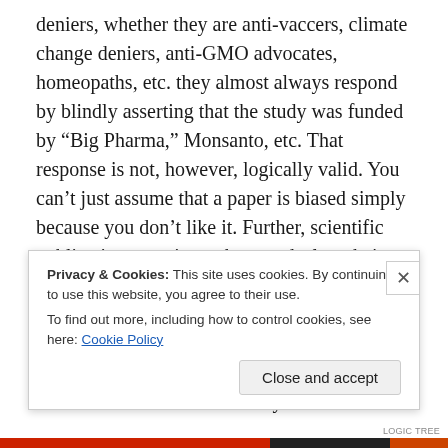deniers, whether they are anti-vaccers, climate change deniers, anti-GMO advocates, homeopaths, etc. they almost always respond by blindly asserting that the study was funded by “Big Pharma,” Monsanto, etc. That response is not, however, logically valid. You can’t just assume that a paper is biased simply because you don’t like it. Further, scientific publications require authors to declare their conflicts of interest, so you can actually check and see if the paper was funded by a source that might have biased it. When you do that, you find that there are tons of independent studies that were conducted by
Privacy & Cookies: This site uses cookies. By continuing to use this website, you agree to their use.
To find out more, including how to control cookies, see here: Cookie Policy